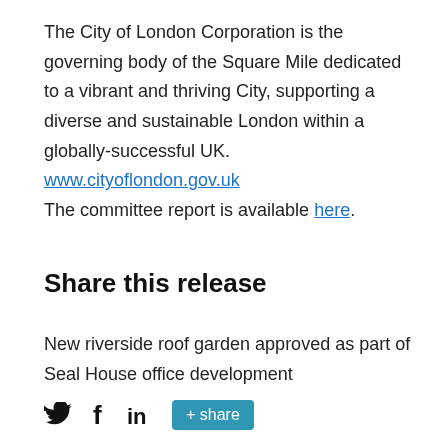The City of London Corporation is the governing body of the Square Mile dedicated to a vibrant and thriving City, supporting a diverse and sustainable London within a globally-successful UK. www.cityoflondon.gov.uk
The committee report is available here.
Share this release
New riverside roof garden approved as part of Seal House office development
[Figure (other): Social sharing buttons: Twitter bird icon, Facebook f icon, LinkedIn in icon, and a teal '+ share' button]